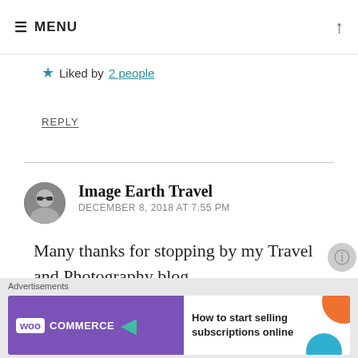≡ MENU
★ Liked by 2 people
REPLY
Image Earth Travel
DECEMBER 8, 2018 AT 7:55 PM
Many thanks for stopping by my Travel and Photography blog.
[Figure (photo): Circular avatar photo of a person wearing sunglasses, grayscale]
Advertisements
[Figure (screenshot): WooCommerce advertisement banner: purple left section with WooCommerce logo and green arrow, white right section with text 'How to start selling subscriptions online', orange and blue decorative shapes]